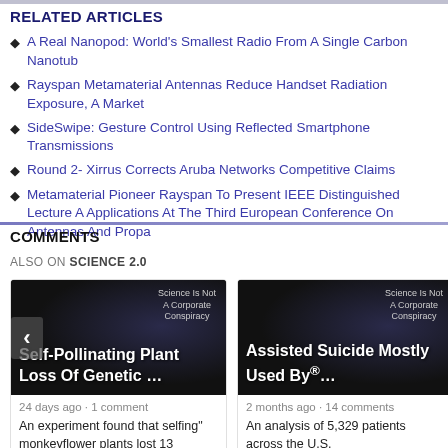RELATED ARTICLES
A Real Nanopod: World's Smallest Radio From A Single Carbon Nanotub
Rayspan Metamaterial Antennas Reduce Handset Radiation Exposure, A Market
SideSwipe: Gesture Control Using Reflected Smartphone Transmissions
Round 2- Xirrus Corrects Aruba Networks Competitive Claims
Metamaterial Pioneer Rayspan To Present IEEE Distinguished Lecture A Applications At The Third European Conference On Antennas And Propa
COMMENTS
ALSO ON SCIENCE 2.0
[Figure (screenshot): Card showing article 'Self-Pollinating Plant Loss Of Genetic ...' with dark background image, 24 days ago, 1 comment, text: An experiment found that selfing monkeyflower plants lost 13 percent to 24]
[Figure (screenshot): Card showing article 'Assisted Suicide Mostly Used By...' with dark background image, 2 months ago, 14 comments, text: An analysis of 5,329 patients across the U.S.]